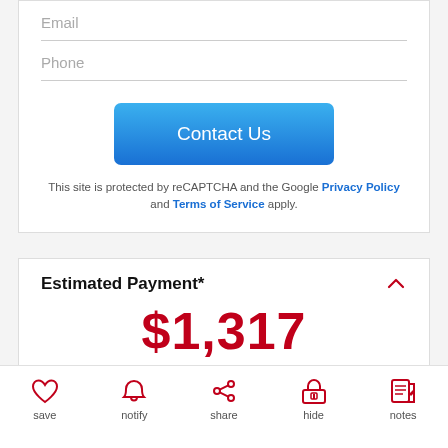Email
Phone
Contact Us
This site is protected by reCAPTCHA and the Google Privacy Policy and Terms of Service apply.
Estimated Payment*
$1,317
Get Pre-Approved
save   notify   share   hide   notes